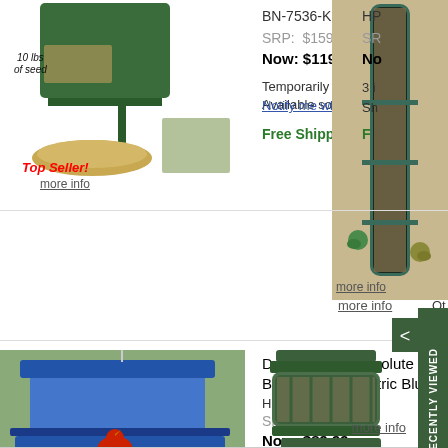BN-7536-KIT2
SRP: $159.99
Now: $119.99
Temporarily out of stock. Available soon.
Notify me when available!
Free Shipping
Top Seller!
more info
[Figure (photo): Green bird feeder with 10 lbs of seed bag]
HP... (partially visible)
more info
[Figure (photo): Tall tube bird feeder with birds perched on it]
Double Sided Absolute II Bird Feeder, Electric Blue
HF-7537
SRP: $128.99
Now: $89.99
36 in Stock
Ships from OH
Free Shipping
Made In USA!
Top Seller!
more info
[Figure (photo): Blue double sided platform bird feeder with cardinal]
[Figure (photo): Two dark green lantern-style bird feeders stacked]
Qty:
RECENTLY VIEWED